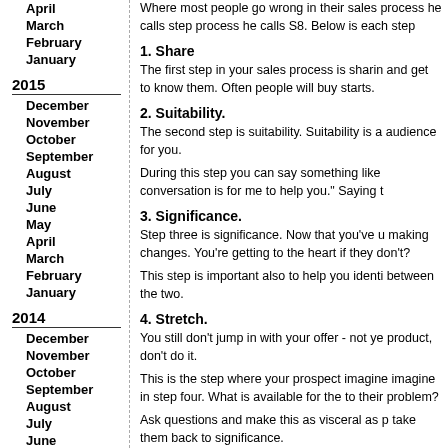April
March
February
January
2015
December
November
October
September
August
July
June
May
April
March
February
January
2014
December
November
October
September
August
July
June
May
April
March
Where most people go wrong in their sales process he calls step process he calls S8. Below is each step
1. Share
The first step in your sales process is sharing and get to know them. Often people will buy starts.
2. Suitability.
The second step is suitability. Suitability is a audience for you.
During this step you can say something like conversation is for me to help you." Saying t
3. Significance.
Step three is significance. Now that you've u making changes. You're getting to the heart if they don't?
This step is important also to help you identi between the two.
4. Stretch.
You still don't jump in with your offer - not ye product, don't do it.
This is the step where your prospect imagine imagine in step four. What is available for th to their problem?
Ask questions and make this as visceral as p take them back to significance.
5. Significance.